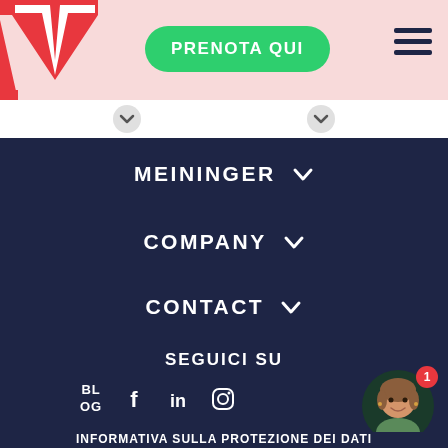[Figure (logo): Meininger Hotels M logo in red and white]
PRENOTA QUI
[Figure (other): Hamburger menu icon (three horizontal lines)]
MEININGER ∨
COMPANY ∨
CONTACT ∨
SEGUICI SU
BLOG
[Figure (other): Social media icons: Facebook, LinkedIn, Instagram]
[Figure (other): Chat avatar with red badge showing number 1]
INFORMATIVA SULLA PROTEZIONE DEI DATI